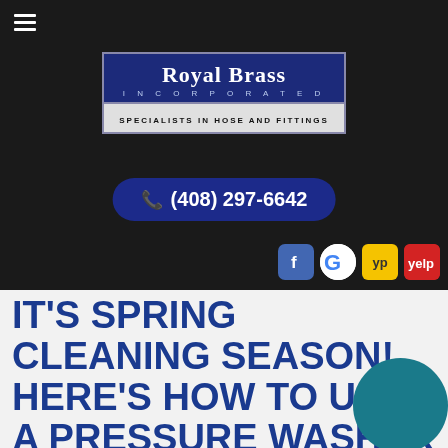[Figure (logo): Royal Brass Incorporated logo with dark navy background and tagline 'Specialists in Hose and Fittings']
☎ (408) 297-6642
[Figure (infographic): Social media icons: Facebook, Google, YP (Yellow Pages), Yelp]
IT'S SPRING CLEANING SEASON! HERE'S HOW TO USE A PRESSURE WASHER